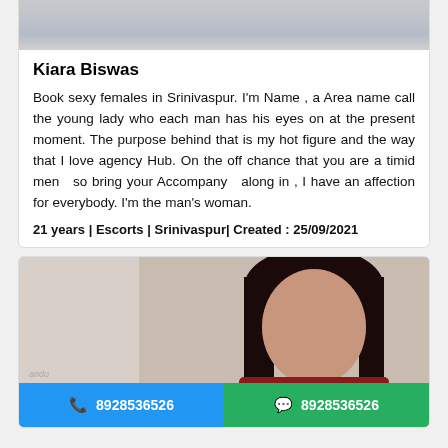[Figure (photo): Top portion of a person wearing a grey outfit, cropped photo at top of listing card]
Kiara Biswas
Book sexy females in Srinivaspur. I'm Name , a Area name call the young lady who each man has his eyes on at the present moment. The purpose behind that is my hot figure and the way that I love agency Hub. On the off chance that you are a timid men  so bring your Accompany  along in , I have an affection for everybody. I'm the man's woman.
21 years | Escorts | Srinivaspur| Created : 25/09/2021
[Figure (photo): Photo of a woman with long dark hair wearing a red top, blurred face]
8928536526
8928536526